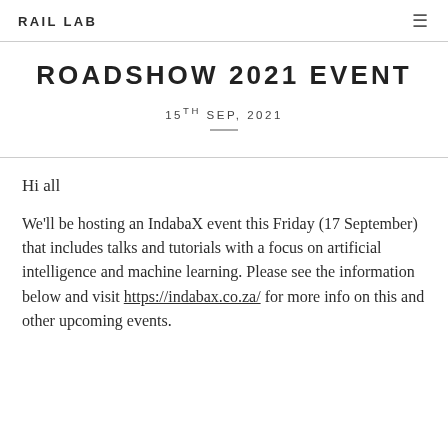RAIL LAB
ROADSHOW 2021 EVENT
15TH SEP, 2021
Hi all
We'll be hosting an IndabaX event this Friday (17 September) that includes talks and tutorials with a focus on artificial intelligence and machine learning. Please see the information below and visit https://indabax.co.za/ for more info on this and other upcoming events.